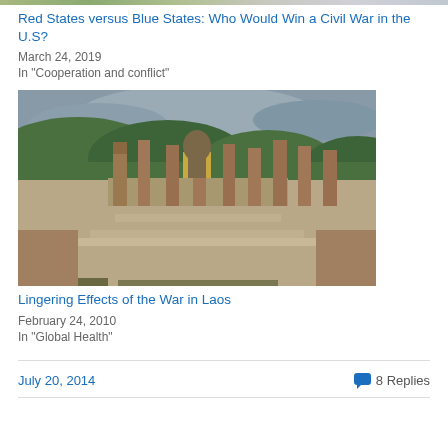[Figure (photo): Top image strip from previous article]
Red States versus Blue States: Who Would Win a Civil War in the U.S?
March 24, 2019
In "Cooperation and conflict"
[Figure (photo): Photo of ancient temple ruins with a seated Buddha statue surrounded by broken stone columns, with green forested hills and cloudy sky in the background. Stone steps lead up to the ruins.]
Lingering Effects of the War in Laos
February 24, 2010
In "Global Health"
July 20, 2014
8 Replies